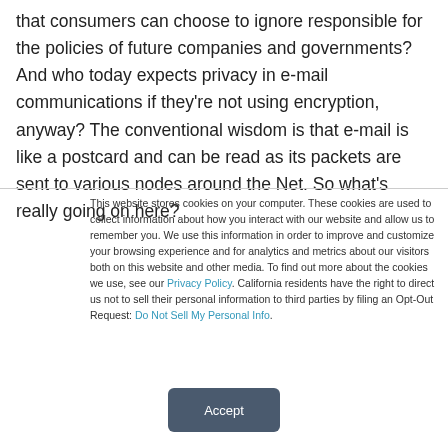that consumers can choose to ignore responsible for the policies of future companies and governments? And who today expects privacy in e-mail communications if they're not using encryption, anyway? The conventional wisdom is that e-mail is like a postcard and can be read as its packets are sent to various nodes around the Net. So what's really going on here?
This website stores cookies on your computer. These cookies are used to collect information about how you interact with our website and allow us to remember you. We use this information in order to improve and customize your browsing experience and for analytics and metrics about our visitors both on this website and other media. To find out more about the cookies we use, see our Privacy Policy. California residents have the right to direct us not to sell their personal information to third parties by filing an Opt-Out Request: Do Not Sell My Personal Info.
Accept